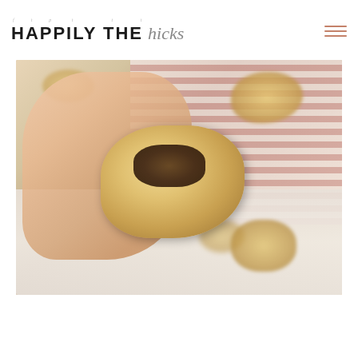HAPPILY THE hicks
[Figure (photo): A hand holding a baked muffin broken in half to reveal a dark meat/sausage filling inside, with several whole muffins blurred in the background on a red-and-white striped cloth over a white marble surface.]